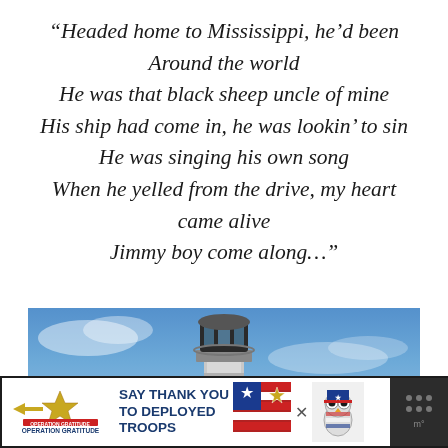“Headed home to Mississippi, he’d been Around the world He was that black sheep uncle of mine His ship had come in, he was lookin’ to sin He was singing his own song When he yelled from the drive, my heart came alive Jimmy boy come along…”
[Figure (photo): Photograph of a lighthouse tower against a blue sky with clouds]
[Figure (infographic): Advertisement banner: Operation Gratitude logo with star and ribbon, text SAY THANK YOU TO DEPLOYED TROOPS, American flag graphic, cartoon owl character, close button X, dark panel with dots]